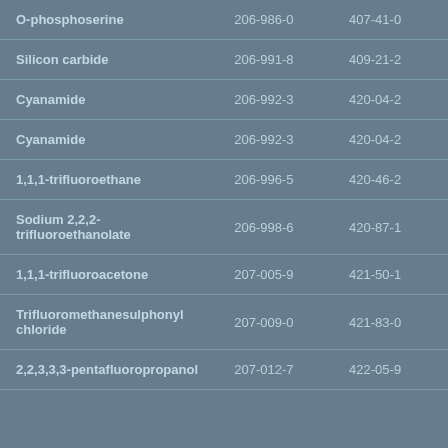| O-phosphoserine | 206-986-0 | 407-41-0 |
| Silicon carbide | 206-991-8 | 409-21-2 |
| Cyanamide | 206-992-3 | 420-04-2 |
| Cyanamide | 206-992-3 | 420-04-2 |
| 1,1,1-trifluoroethane | 206-996-5 | 420-46-2 |
| Sodium 2,2,2-trifluoroethanolate | 206-998-6 | 420-87-1 |
| 1,1,1-trifluoroacetone | 207-005-9 | 421-50-1 |
| Trifluoromethanesulphonyl chloride | 207-009-0 | 421-83-0 |
| 2,2,3,3,3-pentafluoropropanol | 207-012-7 | 422-05-9 |